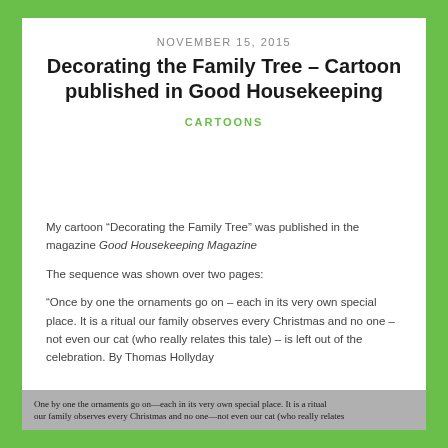NOVEMBER 15, 2015
Decorating the Family Tree – Cartoon published in Good Housekeeping
CARTOONS
My cartoon “Decorating the Family Tree” was published in the magazine Good Housekeeping Magazine
The sequence was shown over two pages:
“Once by one the ornaments go on – each in its very own special place. It is a ritual our family observes every Christmas and no one – not even our cat (who really relates this tale) – is left out of the celebration. By Thomas Hollyday
[Figure (illustration): Bottom strip showing beginning of cartoon caption text: 'One by one the ornaments go on—each in its very own special place. It is a ritual our family observes every Christmas and no one—not even our cat (who really relates']